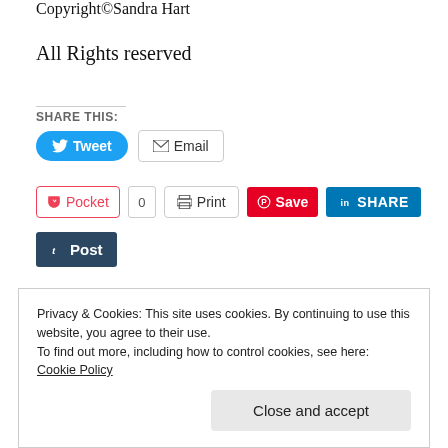Copyright©Sandra Hart
All Rights reserved
SHARE THIS:
[Figure (other): Social share buttons: Tweet, Email, Pocket (0), Print, Save (Pinterest), SHARE (LinkedIn), Post (Tumblr)]
Loading...
Privacy & Cookies: This site uses cookies. By continuing to use this website, you agree to their use.
To find out more, including how to control cookies, see here:
Cookie Policy
Close and accept